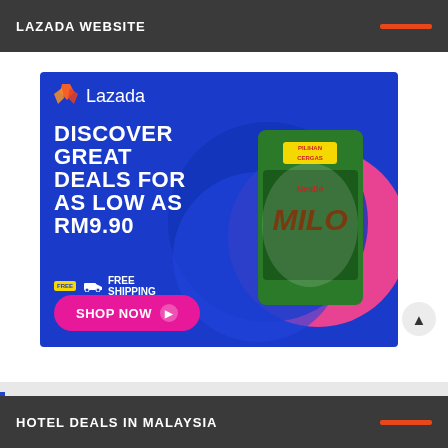LAZADA WEBSITE
[Figure (screenshot): Lazada advertisement banner showing Milo product with text 'DISCOVER GREAT DEALS FOR AS LOW AS RM9.90' with FREE SHIPPING badge and SHOP NOW button on blue background]
HOTEL DEALS IN MALAYSIA